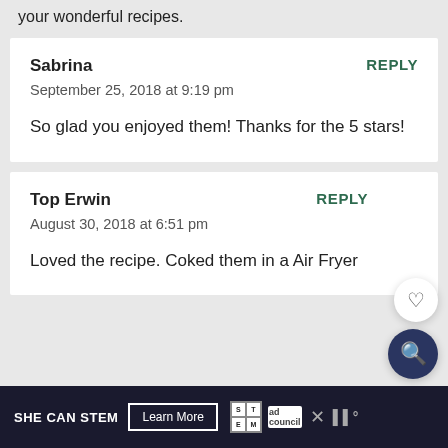your wonderful recipes.
Sabrina
REPLY
September 25, 2018 at 9:19 pm
So glad you enjoyed them! Thanks for the 5 stars!
Top Erwin
REPLY
August 30, 2018 at 6:51 pm
Loved the recipe. Coked them in a Air Fryer
SHE CAN STEM   Learn More